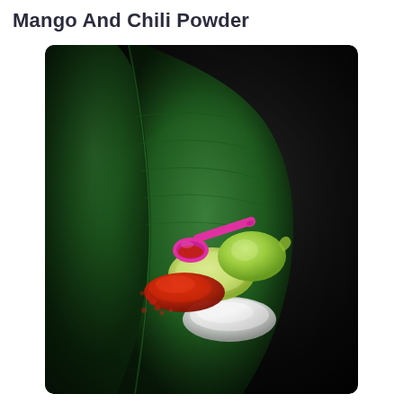Mango And Chili Powder
[Figure (photo): A dark-background photograph showing a large green banana leaf with a mango slice, a whole green mango, red chili powder, a pink measuring spoon, and white powder arranged on the leaf.]